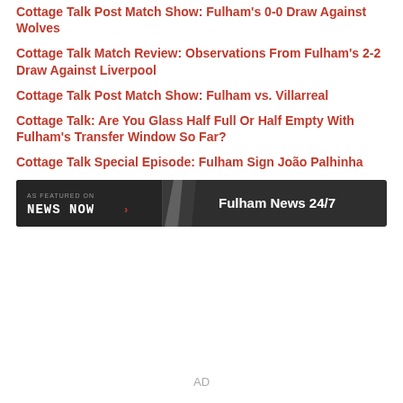Cottage Talk Post Match Show: Fulham's 0-0 Draw Against Wolves
Cottage Talk Match Review: Observations From Fulham's 2-2 Draw Against Liverpool
Cottage Talk Post Match Show: Fulham vs. Villarreal
Cottage Talk: Are You Glass Half Full Or Half Empty With Fulham's Transfer Window So Far?
Cottage Talk Special Episode: Fulham Sign João Palhinha
[Figure (other): News Now banner: AS FEATURED ON News Now logo with arrow, Fulham News 24/7]
AD